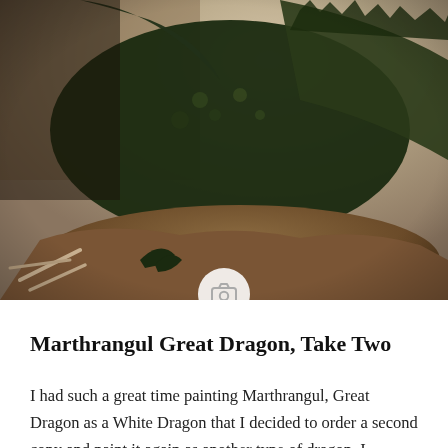[Figure (photo): Close-up photo of a dark green painted dragon miniature figurine on a brown rocky base, against a beige/cream background. The dragon has textured scales, wings visible, and is posed in a crouching position.]
Marthrangul Great Dragon, Take Two
I had such a great time painting Marthrangul, Great Dragon as a White Dragon that I decided to order a second copy and paint it again as another type of dragon. I considered Red or Black but finally settled on Green. Green Dragons are not one of my favorite types but they are the classic. I decided